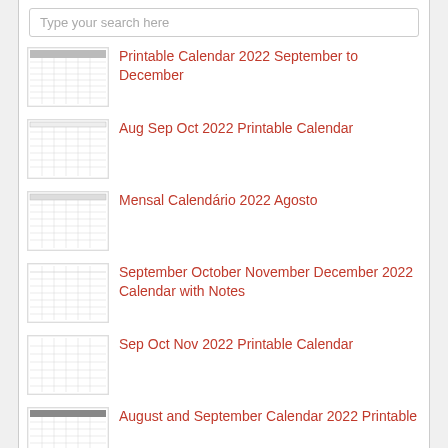Type your search here
Printable Calendar 2022 September to December
Aug Sep Oct 2022 Printable Calendar
Mensal Calendário 2022 Agosto
September October November December 2022 Calendar with Notes
Sep Oct Nov 2022 Printable Calendar
August and September Calendar 2022 Printable
Calendario del Mes de Agosto y Septiembre 2022